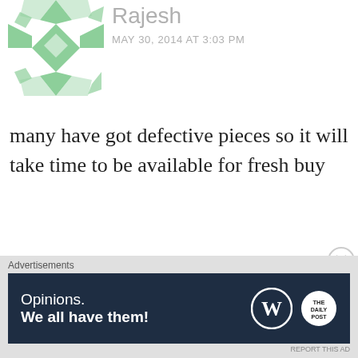[Figure (illustration): Green geometric quilt-pattern avatar for user Rajesh]
Rajesh
MAY 30, 2014 AT 3:03 PM
many have got defective pieces so it will take time to be available for fresh buy
Like
REPLY
[Figure (illustration): Orange geometric quilt-pattern avatar for user Moto e]
Moto e
MAY 30, 2014 AT 6:00 PM
Advertisements
[Figure (screenshot): WordPress ad banner: Opinions. We all have them! with WordPress and DailyPost logos on dark background]